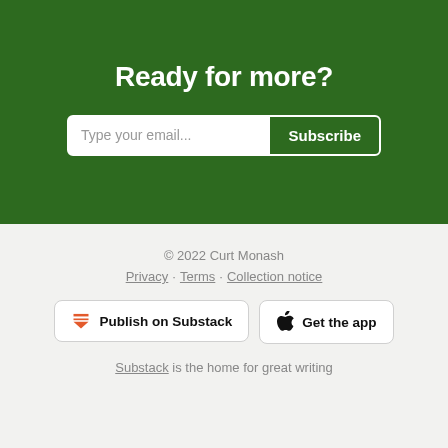Ready for more?
Type your email... Subscribe
© 2022 Curt Monash
Privacy · Terms · Collection notice
Publish on Substack
Get the app
Substack is the home for great writing